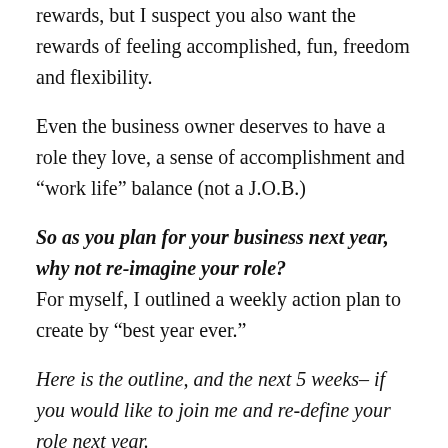rewards, but I suspect you also want the rewards of feeling accomplished, fun, freedom and flexibility.
Even the business owner deserves to have a role they love, a sense of accomplishment and “work life” balance (not a J.O.B.)
So as you plan for your business next year, why not re-imagine your role? For myself, I outlined a weekly action plan to create by “best year ever.”
Here is the outline, and the next 5 weeks– if you would like to join me and re-define your role next year.
My 30 day plan for my (your) best year ever: